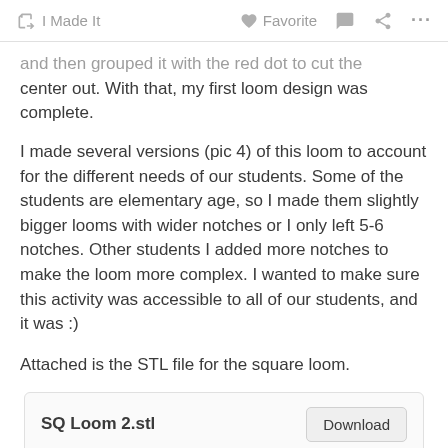I Made It   Favorite   ...
and then grouped it with the red dot to cut the center out. With that, my first loom design was complete.
I made several versions (pic 4) of this loom to account for the different needs of our students. Some of the students are elementary age, so I made them slightly bigger looms with wider notches or I only left 5-6 notches. Other students I added more notches to make the loom more complex. I wanted to make sure this activity was accessible to all of our students, and it was :)
Attached is the STL file for the square loom.
| SQ Loom 2.stl | Download |
| --- | --- |